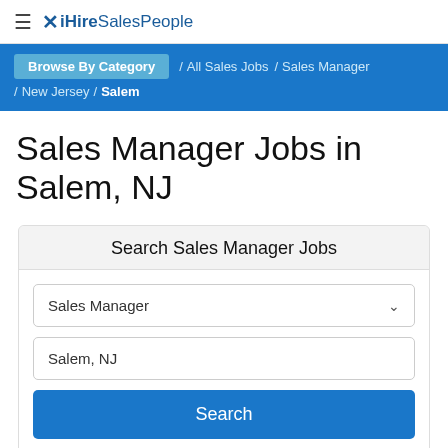iHireSalesPeople
Browse By Category / All Sales Jobs / Sales Manager / New Jersey / Salem
Sales Manager Jobs in Salem, NJ
Search Sales Manager Jobs
Sales Manager
Salem, NJ
Search